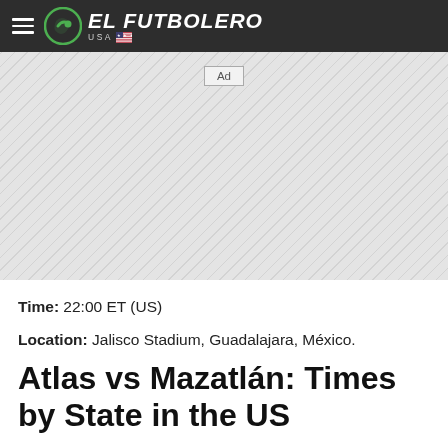EL FUTBOLERO USA
[Figure (other): Ad placeholder banner with diagonal stripe background]
Time: 22:00 ET (US)
Location: Jalisco Stadium, Guadalajara, México.
Atlas vs Mazatlán: Times by State in the US
ET: 22:00